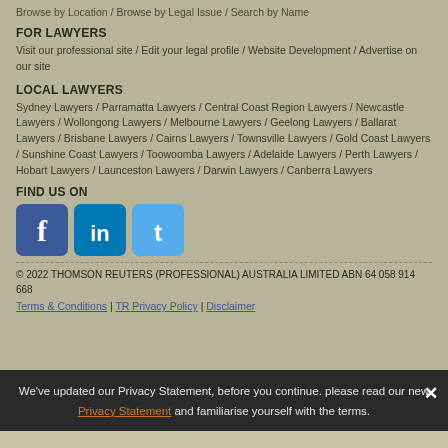Browse by Location / Browse by Legal Issue / Search by Name
FOR LAWYERS
Visit our professional site / Edit your legal profile / Website Development / Advertise on our site
LOCAL LAWYERS
Sydney Lawyers / Parramatta Lawyers / Central Coast Region Lawyers / Newcastle Lawyers / Wollongong Lawyers / Melbourne Lawyers / Geelong Lawyers / Ballarat Lawyers / Brisbane Lawyers / Cairns Lawyers / Townsville Lawyers / Gold Coast Lawyers / Sunshine Coast Lawyers / Toowoomba Lawyers / Adelaide Lawyers / Perth Lawyers / Hobart Lawyers / Launceston Lawyers / Darwin Lawyers / Canberra Lawyers
FIND US ON
[Figure (logo): Facebook, LinkedIn, and Twitter social media icons]
© 2022 THOMSON REUTERS (PROFESSIONAL) AUSTRALIA LIMITED ABN 64 058 914 668
Terms & Conditions | TR Privacy Policy | Disclaimer
We've updated our Privacy Statement, before you continue. please read our new Privacy Statement and familiarise yourself with the terms.